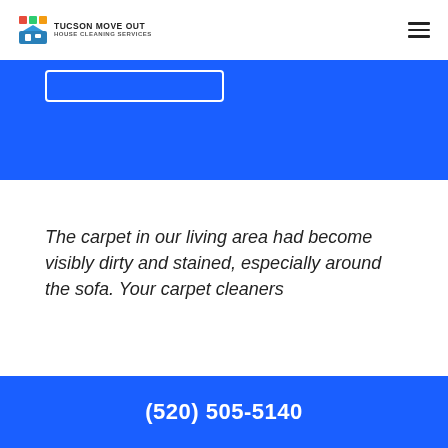TUCSON MOVE OUT HOUSE CLEANING SERVICES
[Figure (screenshot): Blue hero banner with white outlined button, partially cropped at top of page]
The carpet in our living area had become visibly dirty and stained, especially around the sofa. Your carpet cleaners
(520) 505-5140